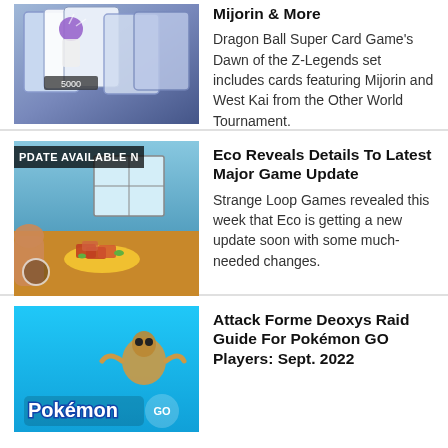[Figure (photo): Dragon Ball Super card game cards featuring Mijorin and other characters]
Mijorin & More
Dragon Ball Super Card Game's Dawn of the Z-Legends set includes cards featuring Mijorin and West Kai from the Other World Tournament.
[Figure (screenshot): Eco game screenshot showing update available notice with interior scene and food on plate]
Eco Reveals Details To Latest Major Game Update
Strange Loop Games revealed this week that Eco is getting a new update soon with some much-needed changes.
[Figure (photo): Pokémon GO artwork showing Deoxys Attack Forme on cyan background with Pokémon logo]
Attack Forme Deoxys Raid Guide For Pokémon GO Players: Sept. 2022